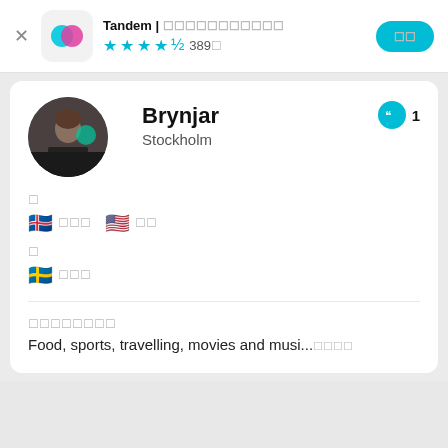Tandem | 탄뎀 - 언어교환파트너 찾기  ★★★★½ 389개
Brynjar
Stockholm
1
🇮🇸 아이슬란드어  🇺🇸 영어
🇸🇪 스웨덴어
Food, sports, travelling, movies and musi...더보기